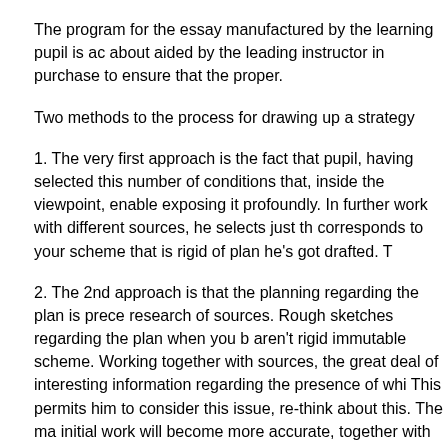The program for the essay manufactured by the learning pupil is ac about aided by the leading instructor in purchase to ensure that the proper.
Two methods to the process for drawing up a strategy
1. The very first approach is the fact that pupil, having selected this number of conditions that, inside the viewpoint, enable exposing it profoundly. In further work with different sources, he selects just th corresponds to your scheme that is rigid of plan he's got drafted. T
2. The 2nd approach is that the planning regarding the plan is prece research of sources. Rough sketches regarding the plan when you b aren't rigid immutable scheme. Working together with sources, the great deal of interesting information regarding the presence of whi This permits him to consider this issue, re-think about this. The ma initial work will become more accurate, together with abstract shal informative. Clearly, the 2nd approach of drawing up a plan that is a
Resources of information for writing the abstract